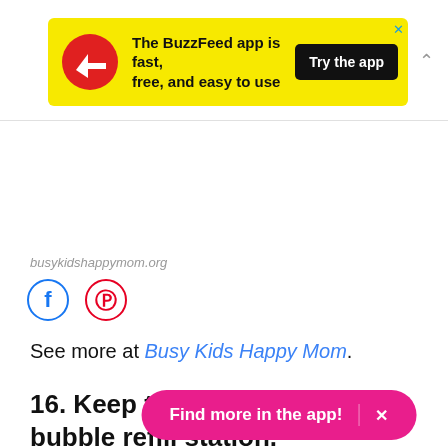[Figure (screenshot): BuzzFeed app advertisement banner with yellow background, BuzzFeed logo (white arrow in red circle), text 'The BuzzFeed app is fast, free, and easy to use', and black 'Try the app' button]
busykidshappymom.org
[Figure (other): Facebook and Pinterest social share icon buttons]
See more at Busy Kids Happy Mom.
16. Keep the fun flowing with a bubble refill station.
[Figure (other): Pink 'Find more in the app!' button with X close button]